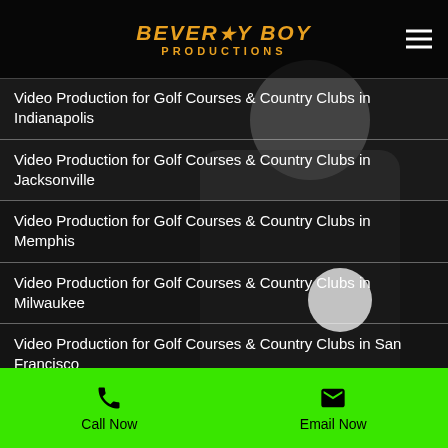Beverly Boy Productions
Video Production for Golf Courses & Country Clubs in Indianapolis
Video Production for Golf Courses & Country Clubs in Jacksonville
Video Production for Golf Courses & Country Clubs in Memphis
Video Production for Golf Courses & Country Clubs in Milwaukee
Video Production for Golf Courses & Country Clubs in San Francisco
Video Production for the Home Building Industry in Orlando
Call Now | Email Now